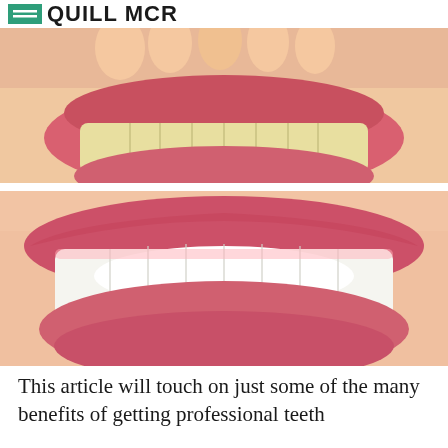QUILL MCR
[Figure (photo): Before and after comparison of teeth whitening: top half shows yellowed teeth (before), bottom half shows bright white teeth (after), with a white diagonal dividing line between the two images.]
This article will touch on just some of the many benefits of getting professional teeth